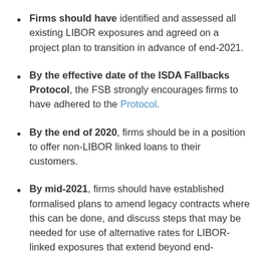Firms should have identified and assessed all existing LIBOR exposures and agreed on a project plan to transition in advance of end-2021.
By the effective date of the ISDA Fallbacks Protocol, the FSB strongly encourages firms to have adhered to the Protocol.
By the end of 2020, firms should be in a position to offer non-LIBOR linked loans to their customers.
By mid-2021, firms should have established formalised plans to amend legacy contracts where this can be done, and discuss steps that may be needed for use of alternative rates for LIBOR-linked exposures that extend beyond end-